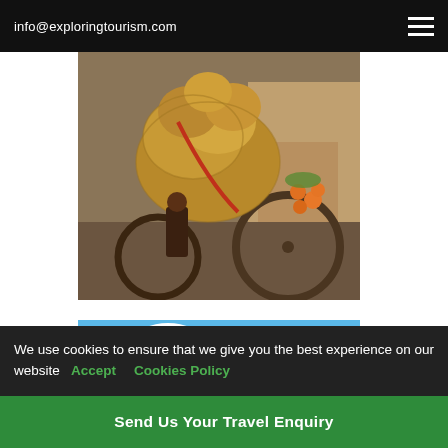info@exploringtourism.com
[Figure (photo): Street market scene with baskets and hats piled on a bicycle, person selling goods, oranges/fruit visible in background]
[Figure (photo): Ha Long Bay Vietnam scenic view with turquoise water, karst limestone mountains, white clouds, and a traditional junk boat with yellow sails]
We use cookies to ensure that we give you the best experience on our website  Accept  Cookies Policy
Send Us Your Travel Enquiry